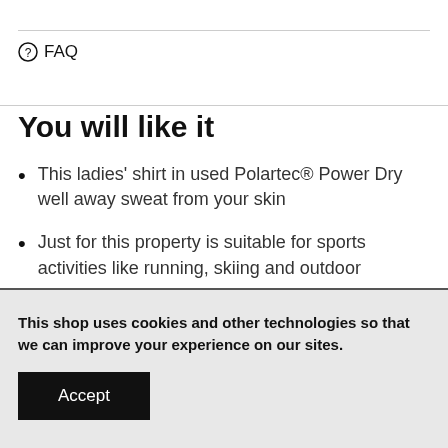⊙ FAQ
You will like it
This ladies' shirt in used Polartec® Power Dry well away sweat from your skin
Just for this property is suitable for sports activities like running, skiing and outdoor
This shop uses cookies and other technologies so that we can improve your experience on our sites.
Accept